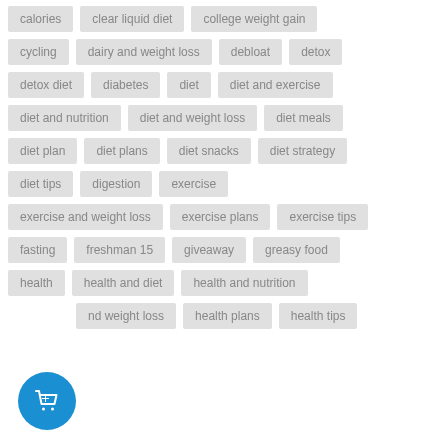calories
clear liquid diet
college weight gain
cycling
dairy and weight loss
debloat
detox
detox diet
diabetes
diet
diet and exercise
diet and nutrition
diet and weight loss
diet meals
diet plan
diet plans
diet snacks
diet strategy
diet tips
digestion
exercise
exercise and weight loss
exercise plans
exercise tips
fasting
freshman 15
giveaway
greasy food
health
health and diet
health and nutrition
health and weight loss
health plans
health tips